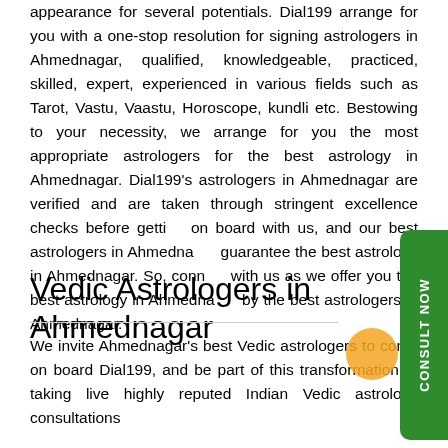appearance for several potentials. Dial199 arrange for you with a one-stop resolution for signing astrologers in Ahmednagar, qualified, knowledgeable, practiced, skilled, expert, experienced in various fields such as Tarot, Vastu, Vaastu, Horoscope, kundli etc. Bestowing to your necessity, we arrange for you the most appropriate astrologers for the best astrology in Ahmednagar. Dial199's astrologers in Ahmednagar are verified and are taken through stringent excellence checks before getting on board with us, and our best astrologers in Ahmednagar guarantee the best astrology in Ahmednagar. So, connect with us as we offer you the best astrology in Ahmednagar by the best astrologers in Ahmednagar.
Vedic Astrologers in Ahmednagar
We invite Ahmednagar's best Vedic astrologers to come on board Dial199, and be part of this transformation of taking live highly reputed Indian Vedic astrology consultations